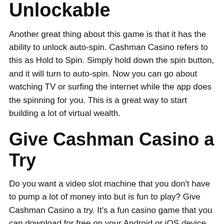Unlockable
Another great thing about this game is that it has the ability to unlock auto-spin. Cashman Casino refers to this as Hold to Spin. Simply hold down the spin button, and it will turn to auto-spin. Now you can go about watching TV or surfing the internet while the app does the spinning for you. This is a great way to start building a lot of virtual wealth.
Give Cashman Casino a Try
Do you want a video slot machine that you don't have to pump a lot of money into but is fun to play? Give Cashman Casino a try. It's a fun casino game that you can download for free on your Android or iOS device.
While you don't earn real money while playing this app, you do get the experience of playing a slot